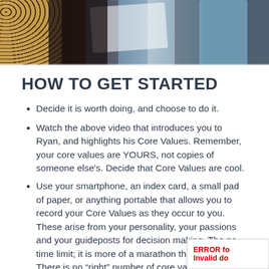[Figure (photo): Group of people at an event; partial image showing tops of heads and upper bodies against a light background, one person wearing leopard print top]
HOW TO GET STARTED
Decide it is worth doing, and choose to do it.
Watch the above video that introduces you to Ryan, and highlights his Core Values. Remember, your core values are YOURS, not copies of someone else's. Decide that Core Values are cool.
Use your smartphone, an index card, a small pad of paper, or anything portable that allows you to record your Core Values as they occur to you. These arise from your personality, your passions and your guideposts for decision making. The no time limit; it is more of a marathon than a sprint.  There is no “right” number of core values,